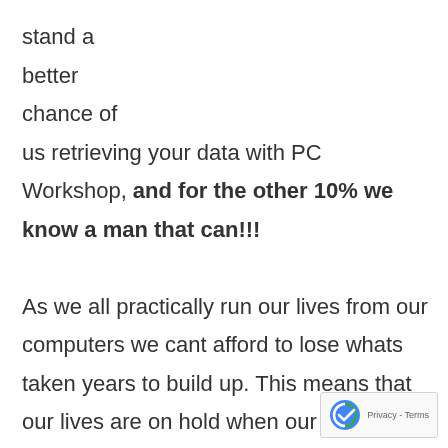stand a better chance of us retrieving your data with PC Workshop, and for the other 10% we know a man that can!!! As we all practically run our lives from our computers we cant afford to lose whats taken years to build up. This means that our lives are on hold when our computer goes wrong and all the data on our devices is unavailable. It doesn't matter whether you've got a business that has lost all of its essential files, or whether you've just lost all the contacts and photos you need the good data recovery services, and you